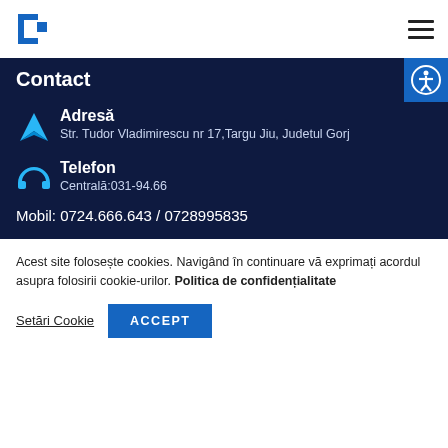[Logo] [Hamburger menu]
Contact
Adresă
Str. Tudor Vladimirescu nr 17,Targu Jiu, Judetul Gorj
Telefon
Centrală:031-94.66
Mobil: 0724.666.643 / 0728995835
Acest site folosește cookies. Navigând în continuare vă exprimați acordul asupra folosirii cookie-urilor. Politica de confidențialitate
Setări Cookie  ACCEPT